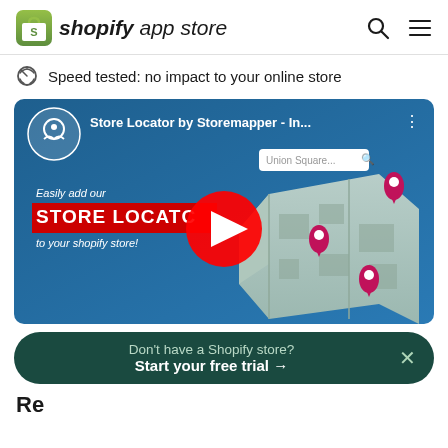shopify app store
Speed tested: no impact to your online store
[Figure (screenshot): YouTube video thumbnail for 'Store Locator by Storemapper - In...' showing a map with pink location pins, a search box with 'Union Square...', text 'Easily add our STORE LOCATOR to your shopify store!', and a red YouTube play button overlay.]
Don't have a Shopify store? Start your free trial →
Re